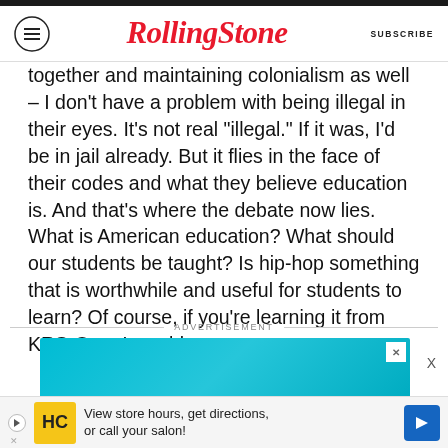RollingStone | SUBSCRIBE
together and maintaining colonialism as well – I don't have a problem with being illegal in their eyes. It's not real “illegal.” If it was, I’d be in jail already. But it flies in the face of their codes and what they believe education is. And that’s where the debate now lies. What is American education? What should our students be taught? Is hip-hop something that is worthwhile and useful for students to learn? Of course, if you’re learning it from KRS-One, I would say yes.
[Figure (other): Advertisement banner area with teal/cyan background and an HC salon advertisement strip at bottom reading 'View store hours, get directions, or call your salon!']